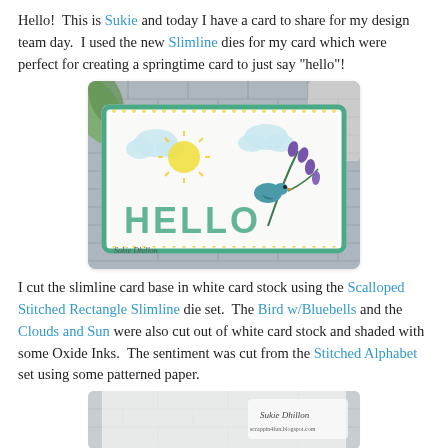Hello!  This is Sukie and today I have a card to share for my design team day.  I used the new Slimline dies for my card which were perfect for creating a springtime card to just say "hello"!
[Figure (photo): A handmade slimline greeting card with 'HELLO' cut letters in teal/green, featuring a blue bird with bluebells, clouds, and a sun, on a white card stock with a decorative green patterned border, displayed on a gray brick background with greenery. Watermark: Sukie Dhillon.]
I cut the slimline card base in white card stock using the Scalloped Stitched Rectangle Slimline die set.  The Bird w/Bluebells and the Clouds and Sun were also cut out of white card stock and shaded with some Oxide Inks.  The sentiment was cut from the Stitched Alphabet set using some patterned paper.
[Figure (photo): Bottom portion of a handmade card with watermark 'Sukie Dhillon scrappin4fun.blogspot.com' visible in lower right corner against a light background.]